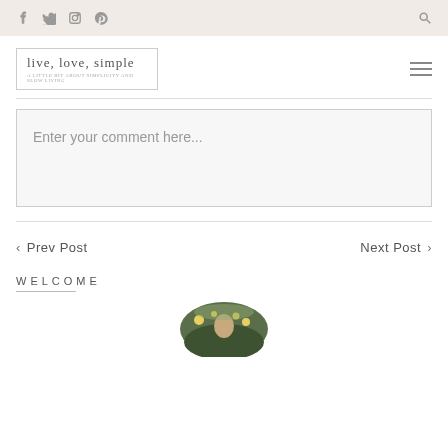Social icons: Facebook, Twitter, Instagram, Pinterest; Search icon
[Figure (logo): live, love, simple blog logo in script font with subtitle text, inside a bordered box]
Enter your comment here...
< Prev Post    Next Post >
WELCOME
[Figure (photo): Circular cropped photo of person outdoors with greenery and flowers]